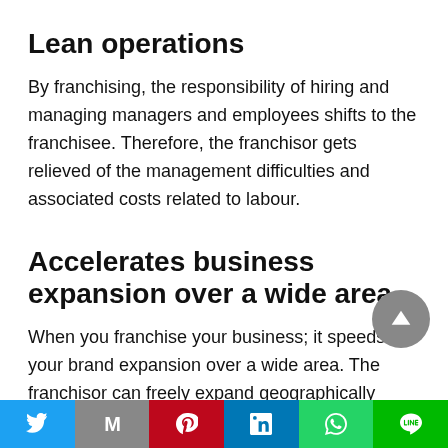Lean operations
By franchising, the responsibility of hiring and managing managers and employees shifts to the franchisee. Therefore, the franchisor gets relieved of the management difficulties and associated costs related to labour.
Accelerates business expansion over a wide area
When you franchise your business; it speeds up your brand expansion over a wide area. The franchisor can freely expand geographically using
Twitter | Gmail | Pinterest | LinkedIn | WhatsApp | Line